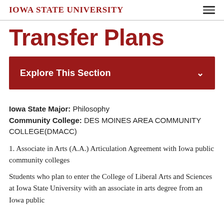Iowa State University
Transfer Plans
Explore This Section
Iowa State Major: Philosophy
Community College: DES MOINES AREA COMMUNITY COLLEGE(DMACC)
1. Associate in Arts (A.A.) Articulation Agreement with Iowa public community colleges
Students who plan to enter the College of Liberal Arts and Sciences at Iowa State University with an associate in arts degree from an Iowa public